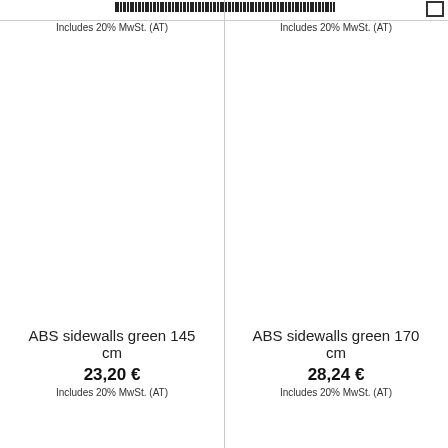[Figure (other): Barcode strip at top of page]
[Figure (other): Checkbox (empty square) in top right corner]
Includes 20% MwSt. (AT)
Includes 20% MwSt. (AT)
ABS sidewalls green 145 cm
23,20 €
Includes 20% MwSt. (AT)
ABS sidewalls green 170 cm
28,24 €
Includes 20% MwSt. (AT)